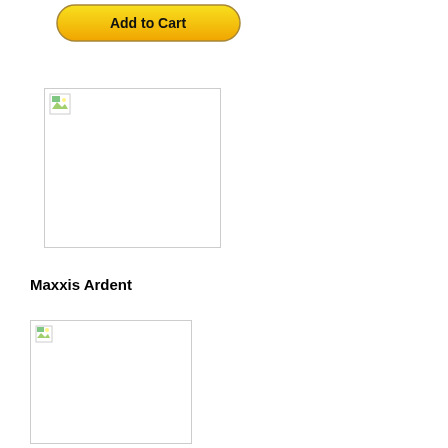[Figure (other): Add to Cart button (PayPal-style yellow rounded button)]
[Figure (photo): Product image placeholder with broken image icon, large rectangle with border]
Maxxis Ardent
[Figure (photo): Product image placeholder with broken image icon, smaller rectangle with border]